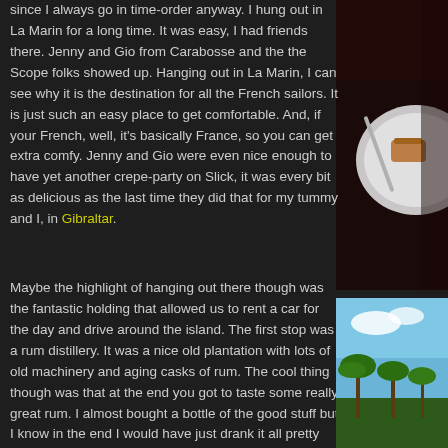since I always go in time-order anyway. I hung out in La Marin for a long time. It was easy, I had friends there. Jenny and Gio from Carabosse and the the Scope folks showed up. Hanging out in La Marin, I can see why it is the destination for all the French sailors. It is just such an easy place to get comfortable. And, if your French, well, it's basically France, so you can get extra comfy. Jenny and Gio were even nice enough to have yet another crepe-party on Slick, it was every bit as delicious as the last time they did that for my tummy and I, in Gibraltar.
[Figure (photo): Close-up photo of food on a white plate being served with a utensil, dark background]
Maybe the highlight of hanging out there though was the fantastic holding that allowed us to rent a car for the day and drive around the island. The first stop was a rum distillery. It was a nice old plantation with lots of old machinery and aging casks of rum. The cool thing though was that at the end you got to taste some really great rum. I almost bought a bottle of the good stuff but I know in the end I would have just drank it all pretty quickly. I settled for just for the tastings. I hardly drink anymore.
[Figure (photo): Photo of tropical palm trees under a blue sky]